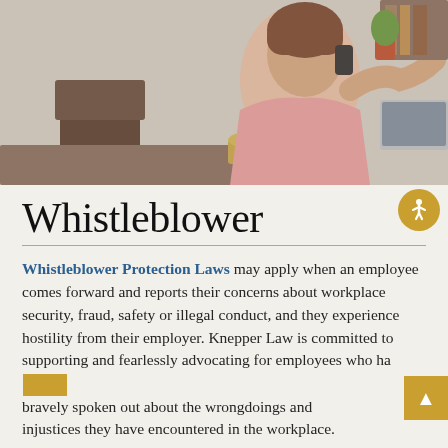[Figure (photo): Woman in pink shirt sitting at desk, talking on phone with laptop open in front of her, appearing stressed or concerned, white brick wall background]
Whistleblower
Whistleblower Protection Laws may apply when an employee comes forward and reports their concerns about workplace security, fraud, safety or illegal conduct, and they experience hostility from their employer. Knepper Law is committed to supporting and fearlessly advocating for employees who have bravely spoken out about the wrongdoings and injustices they have encountered in the workplace.